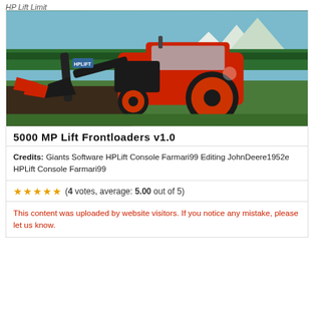HP Lift Limit
[Figure (photo): Screenshot from a farming simulator game showing a red and black tractor with a front loader attachment (HP Lift branded) on a green field with mountains in the background]
5000 MP Lift Frontloaders v1.0
Credits: Giants Software HPLift Console Farmari99 Editing JohnDeere1952e HPLift Console Farmari99
(4 votes, average: 5.00 out of 5)
This content was uploaded by website visitors. If you notice any mistake, please let us know.